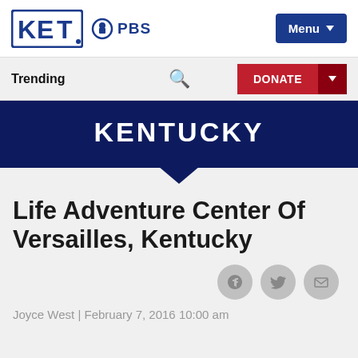[Figure (logo): KET logo with PBS logo and Menu button navigation bar]
Trending
DONATE
KENTUCKY
Life Adventure Center Of Versailles, Kentucky
Joyce West | February 7, 2016 10:00 am